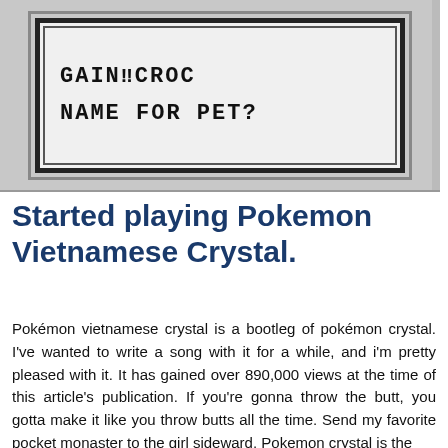[Figure (screenshot): Game Boy style dialog box on gray background showing monospace text: 'GAIN!CROC' on first line and 'NAME FOR PET?' on second line]
Started playing Pokemon Vietnamese Crystal.
Pokémon vietnamese crystal is a bootleg of pokémon crystal. I've wanted to write a song with it for a while, and i'm pretty pleased with it. It has gained over 890,000 views at the time of this article's publication. If you're gonna throw the butt, you gotta make it like you throw butts all the time. Send my favorite pocket monaster to the girl sideward. Pokemon crystal is the